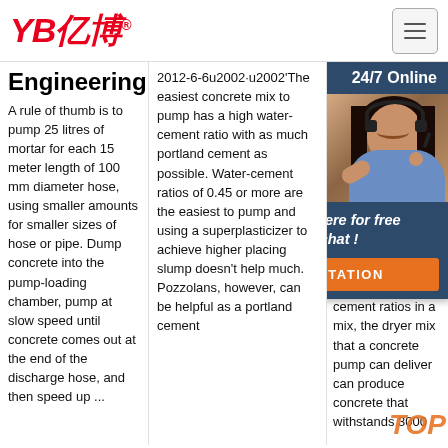[Figure (logo): YB亿博 logo in red italic bold text with registered trademark symbol, company name in Chinese]
Engineering
A rule of thumb is to pump 25 litres of mortar for each 15 meter length of 100 mm diameter hose, using smaller amounts for smaller sizes of hose or pipe. Dump concrete into the pump-loading chamber, pump at slow speed until concrete comes out at the end of the discharge hose, and then speed up ...
2012-6-6u2002·u2002'The easiest concrete mix to pump has a high water-cement ratio with as much portland cement as possible. Water-cement ratios of 0.45 or more are the easiest to pump and using a superplasticizer to achieve higher placing slump doesn't help much. Pozzolans, however, can be helpful as a portland cement
2014-1-21u... of C... Pur... Chu... mal... wor... mix ... wet... dow... the... con... sam... cement ratios in a mix, the dryer mix that a concrete pump can deliver can produce concrete that withstands 3000
[Figure (photo): Chat widget overlay with dark blue background showing 24/7 Online text, photo of smiling woman with headset, Click here for free chat! text, and orange QUOTATION button]